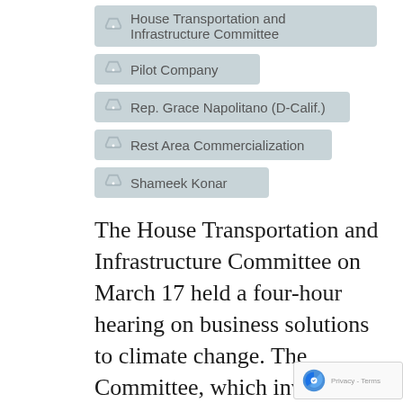House Transportation and Infrastructure Committee
Pilot Company
Rep. Grace Napolitano (D-Calif.)
Rest Area Commercialization
Shameek Konar
The House Transportation and Infrastructure Committee on March 17 held a four-hour hearing on business solutions to climate change. The Committee, which invited NATSO to testify, effectively kicked off the first of a series of hearings that will undoubtedly lay the groundwork for Congress to draft infrastructure legislation in the